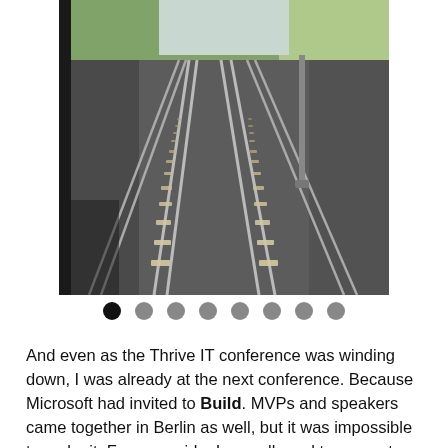[Figure (photo): View of railway tracks from a train, showing two parallel rails converging into the distance, with gravel ballast, wooden sleepers/ties, and a metal utility pole on the right side. Green vegetation visible in the background.]
And even as the Thrive IT conference was winding down, I was already at the next conference. Because Microsoft had invited to Build. MVPs and speakers came together in Berlin as well, but it was impossible to make it. From my side. I was allowed to present a community project together with two MVP colleagues from Austria. We did not describe the digitization of me, sorry of my